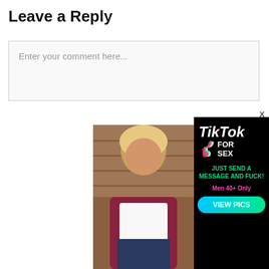Leave a Reply
Enter your comment here...
[Figure (photo): Photo of a blonde woman in a bar/restaurant setting, wearing a white top and dark red patterned jacket]
[Figure (infographic): TikTok advertisement on black background. Text reads: TikTok FOR SEX, JUST SEND A MESSAGE AND FUCK!, Men 40+ Only, VIEW PICS]